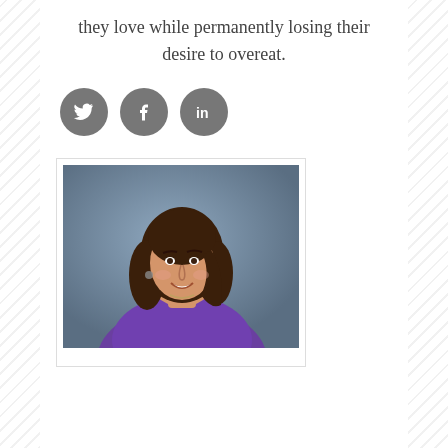they love while permanently losing their desire to overeat.
[Figure (illustration): Three social media icon buttons: Twitter (bird icon), Facebook (f icon), LinkedIn (in icon), all in dark grey circles]
[Figure (photo): Professional headshot of a woman with brown shoulder-length hair, smiling, wearing a purple top, against a blue-grey background]